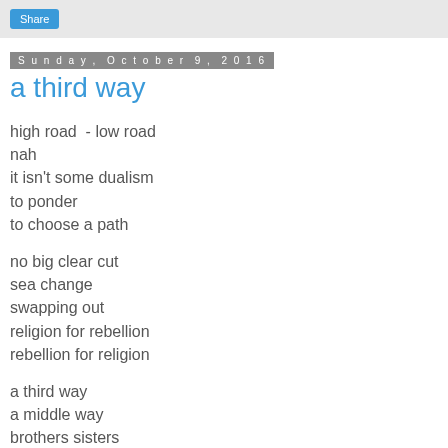Share
Sunday, October 9, 2016
a third way
high road  - low road
nah
it isn't some dualism
to ponder
to choose a path

no big clear cut
sea change
swapping out
religion for rebellion
rebellion for religion

a third way
a middle way
brothers sisters
 a relationship
 a tendli...